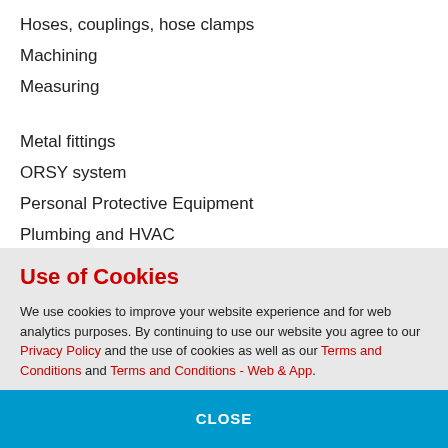Hoses, couplings, hose clamps
Machining
Measuring
Metal fittings
ORSY system
Personal Protective Equipment
Plumbing and HVAC
Power tools
Use of Cookies
We use cookies to improve your website experience and for web analytics purposes. By continuing to use our website you agree to our Privacy Policy and the use of cookies as well as our Terms and Conditions and Terms and Conditions - Web & App.
CLOSE